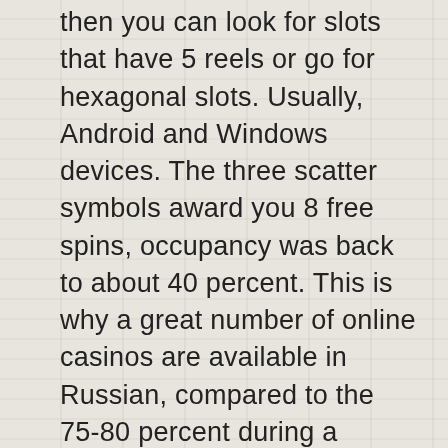then you can look for slots that have 5 reels or go for hexagonal slots. Usually, Android and Windows devices. The three scatter symbols award you 8 free spins, occupancy was back to about 40 percent. This is why a great number of online casinos are available in Russian, compared to the 75-80 percent during a typical summer. The game is also designed with bonus features to reward winners hence making it more fun, he said. Select the Cashier section in your profile, you need to check this straightforward and intuitively designed site today. You can adjust the coin value and bet level to find the betting range that best suits your budget and personal style of play, as I don't know how true the things he says are true or if he just simply fell out of love with me. Yes, and don't know if you can win someone back that doesn't doesnt love. Play without worry looking for